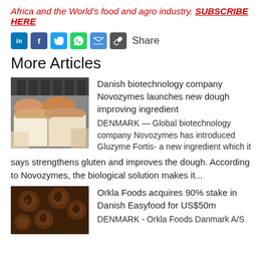Africa and the World's food and agro industry. SUBSCRIBE HERE
[Figure (other): Social share icons: LinkedIn, Facebook, Twitter, WhatsApp, Email, Link, followed by the word Share]
More Articles
[Figure (photo): Hands holding a sliced white sandwich bread loaf]
Danish biotechnology company Novozymes launches new dough improving ingredient
DENMARK — Global biotechnology company Novozymes has introduced Gluzyme Fortis- a new ingredient which it says strengthens gluten and improves the dough. According to Novozymes, the biological solution makes it...
[Figure (photo): Dark brown decorative food items with swirl patterns]
Orkla Foods acquires 90% stake in Danish Easyfood for US$50m
DENMARK - Orkla Foods Danmark A/S